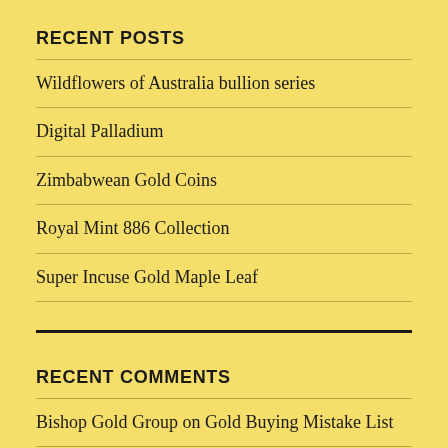RECENT POSTS
Wildflowers of Australia bullion series
Digital Palladium
Zimbabwean Gold Coins
Royal Mint 886 Collection
Super Incuse Gold Maple Leaf
RECENT COMMENTS
Bishop Gold Group on Gold Buying Mistake List
buy a gold bar on 2021 Britannia Coin Security